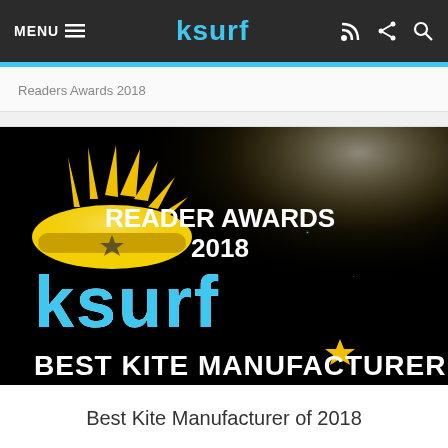MENU  ksurf
Readers Awards 2018
[Figure (illustration): KSURF Reader Awards 2018 Best Kite Manufacturer badge on black background with lens flare. Gold crown/sun logo with KSURF text in blue and white, text READER AWARDS 2018 and BEST KITE MANUFACTURER in bold white.]
Best Kite Manufacturer of 2018